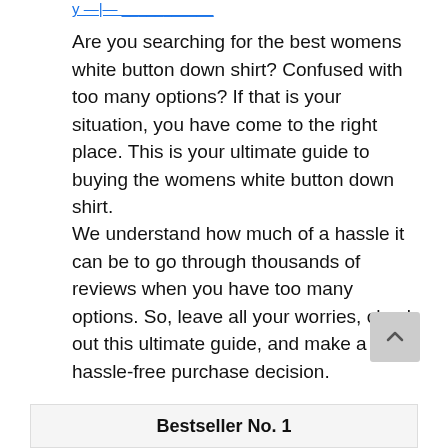y —|— (truncated link)
Are you searching for the best womens white button down shirt? Confused with too many options? If that is your situation, you have come to the right place. This is your ultimate guide to buying the womens white button down shirt.
We understand how much of a hassle it can be to go through thousands of reviews when you have too many options. So, leave all your worries, check out this ultimate guide, and make a hassle-free purchase decision.
Bestseller No. 1